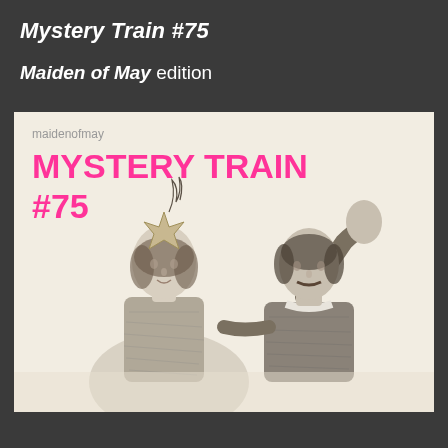Mystery Train #75
Maiden of May edition
[Figure (illustration): Cover image for Mystery Train #75, Maiden of May edition. Shows two Victorian-era figures in period costume — a woman wearing a star-shaped crown with feathers and a man with a mustache raising one arm — rendered in black and white engraving style. Overlaid text reads 'maidenofmay' in grey and 'MYSTERY TRAIN #75' in bright pink/magenta.]